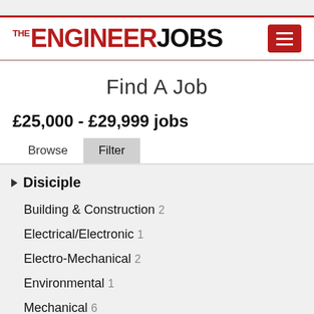[Figure (logo): TheEngineerJobs logo with red 'THE ENGINEER' and black 'JOBS' text, and a red hamburger menu button]
Find A Job
£25,000 - £29,999 jobs
Browse | Filter
Disiciple
Building & Construction 2
Electrical/Electronic 1
Electro-Mechanical 2
Environmental 1
Mechanical 6
Reliability 2